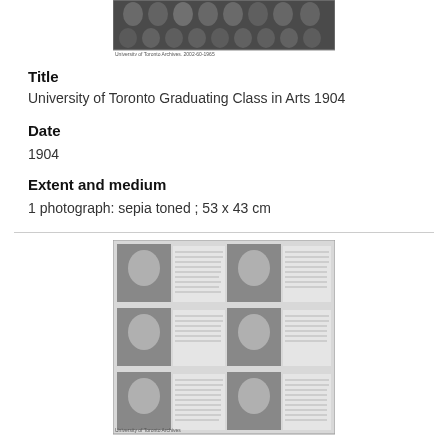[Figure (photo): Sepia-toned group photograph of University of Toronto Graduating Class, with caption 'University of Toronto Archives, 2002-60-1965']
Title
University of Toronto Graduating Class in Arts 1904
Date
1904
Extent and medium
1 photograph: sepia toned ; 53 x 43 cm
[Figure (photo): Grid of six portrait photographs of nursing graduates with names and biographical notes beside each portrait, captioned 'University of Toronto Archives']